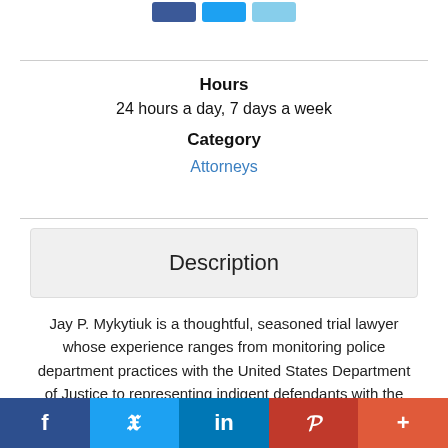[Figure (other): Partial social sharing icon buttons (Facebook, Twitter, LinkedIn) at top of page]
Hours
24 hours a day, 7 days a week
Category
Attorneys
Description
Jay P. Mykytiuk is a thoughtful, seasoned trial lawyer whose experience ranges from monitoring police department practices with the United States Department of Justice to representing indigent defendants with the Arlington County Public
[Figure (other): Bottom social sharing bar with Facebook, Twitter, LinkedIn, Pinterest, and More buttons]